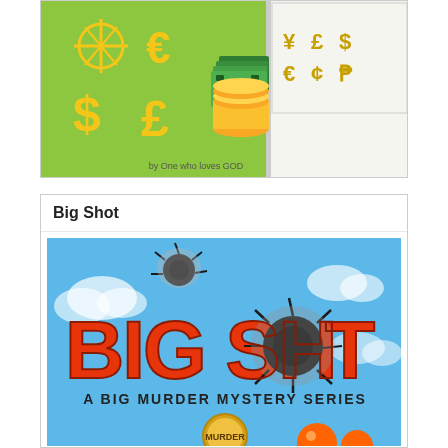[Figure (illustration): Currency symbols illustration with green background showing various currency symbols (dollar, euro, pound, yen, cent) alongside images of cash bills and gold coins, with text 'by One who loves GOD' at the bottom]
Big Shot
[Figure (illustration): Book cover for 'BIG SHOT - A Big Murder Mystery Series' showing large red bold text 'BIG SHOT' with bullet holes replacing the letter O in both words, set against a blue sky background. At the bottom is a gold medal/badge with the word 'MURDER' and orange spheres.]